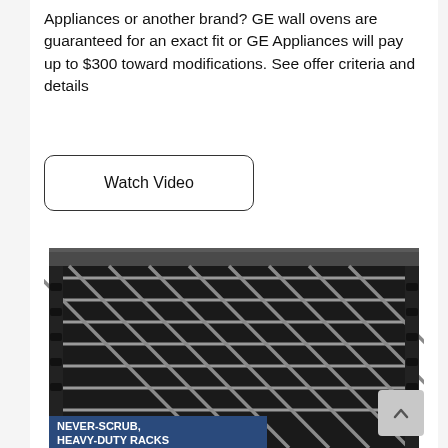Appliances or another brand? GE wall ovens are guaranteed for an exact fit or GE Appliances will pay up to $300 toward modifications. See offer criteria and details
Watch Video
[Figure (photo): Close-up photo of a heavy-duty oven rack with metal grid bars and brackets, with a dark blue banner at the bottom reading NEVER-SCRUB, HEAVY-DUTY RACKS in white bold text]